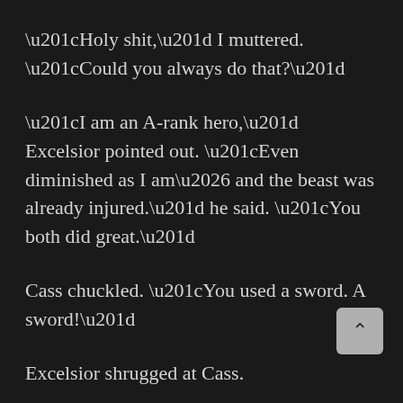“Holy shit,” I muttered. “Could you always do that?”
“I am an A-rank hero,” Excelsior pointed out. “Even diminished as I am… and the beast was already injured.” he said. “You both did great.”
Cass chuckled. “You used a sword. A sword!”
Excelsior shrugged at Cass.
I giggled. “Diminished as you are.”
“Holy fuck,” Colton muttered. “Can you